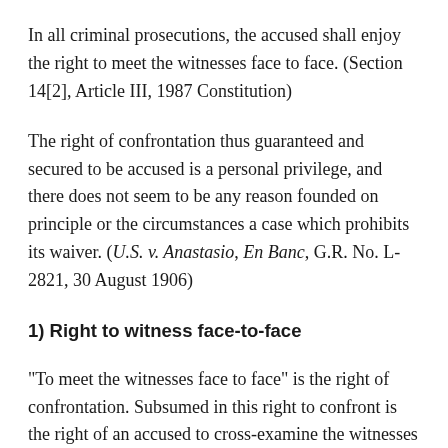In all criminal prosecutions, the accused shall enjoy the right to meet the witnesses face to face. (Section 14[2], Article III, 1987 Constitution)
The right of confrontation thus guaranteed and secured to be accused is a personal privilege, and there does not seem to be any reason founded on principle or the circumstances a case which prohibits its waiver. (U.S. v. Anastasio, En Banc, G.R. No. L-2821, 30 August 1906)
1) Right to witness face-to-face
“To meet the witnesses face to face” is the right of confrontation. Subsumed in this right to confront is the right of an accused to cross-examine the witnesses against him or her, i.e., to propound